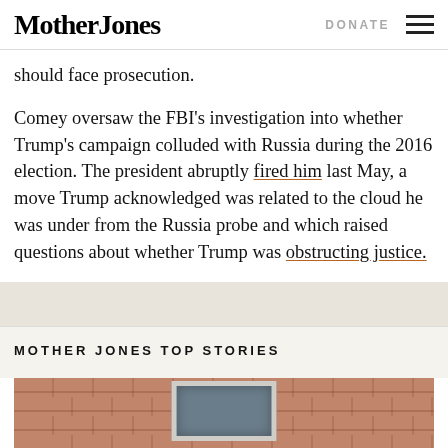Mother Jones | DONATE
should face prosecution.
Comey oversaw the FBI’s investigation into whether Trump’s campaign colluded with Russia during the 2016 election. The president abruptly fired him last May, a move Trump acknowledged was related to the cloud he was under from the Russia probe and which raised questions about whether Trump was obstructing justice.
MOTHER JONES TOP STORIES
[Figure (photo): Photo of a brick building exterior with a window, partially visible at the bottom of the page]